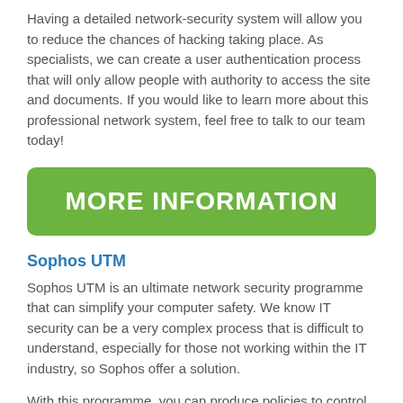Having a detailed network-security system will allow you to reduce the chances of hacking taking place. As specialists, we can create a user authentication process that will only allow people with authority to access the site and documents. If you would like to learn more about this professional network system, feel free to talk to our team today!
[Figure (infographic): Green rounded rectangle button with white bold text reading MORE INFORMATION]
Sophos UTM
Sophos UTM is an ultimate network security programme that can simplify your computer safety. We know IT security can be a very complex process that is difficult to understand, especially for those not working within the IT industry, so Sophos offer a solution.
With this programme, you can produce policies to control security risks and create detailed reports to give you the insight to improve your performance. Your business must look into these data protection plans to achieve the most remarkable results for many years.